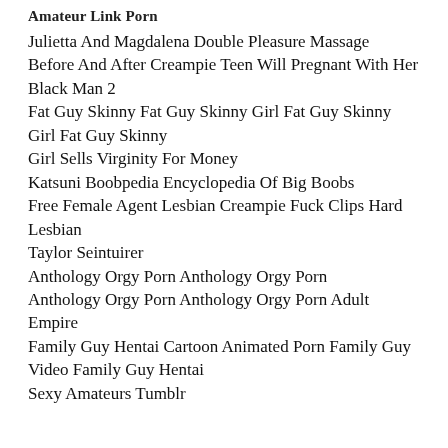Amateur Link Porn
Julietta And Magdalena Double Pleasure Massage
Before And After Creampie Teen Will Pregnant With Her Black Man 2
Fat Guy Skinny Fat Guy Skinny Girl Fat Guy Skinny Girl Fat Guy Skinny
Girl Sells Virginity For Money
Katsuni Boobpedia Encyclopedia Of Big Boobs
Free Female Agent Lesbian Creampie Fuck Clips Hard Lesbian
Taylor Seintuirer
Anthology Orgy Porn Anthology Orgy Porn
Anthology Orgy Porn Anthology Orgy Porn Adult Empire
Family Guy Hentai Cartoon Animated Porn Family Guy Video Family Guy Hentai
Sexy Amateurs Tumblr